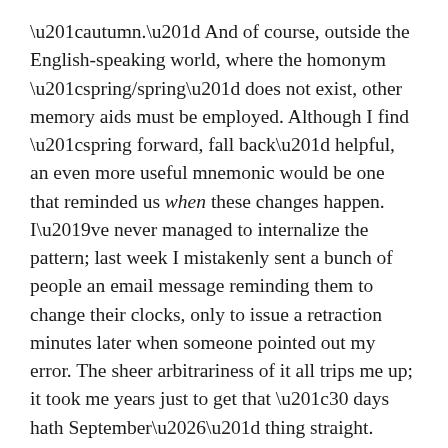“autumn.” And of course, outside the English-speaking world, where the homonym “spring/spring” does not exist, other memory aids must be employed. Although I find “spring forward, fall back” helpful, an even more useful mnemonic would be one that reminded us when these changes happen. I’ve never managed to internalize the pattern; last week I mistakenly sent a bunch of people an email message reminding them to change their clocks, only to issue a retraction minutes later when someone pointed out my error. The sheer arbitrariness of it all trips me up; it took me years just to get that “30 days hath September…” thing straight.
I could go into a long discussion about this time change: the argument over whether it should properly be called “Daylight Savings Time” instead of “Daylight Saving Time”; the history of its